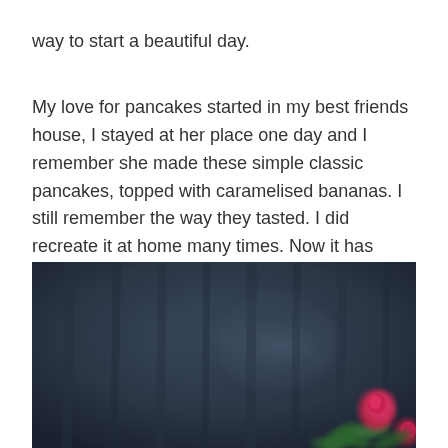way to start a beautiful day.

My love for pancakes started in my best friends house, I stayed at her place one day and I remember she made these simple classic pancakes, topped with caramelised bananas. I still remember the way they tasted. I did recreate it at home many times. Now it has become our favourite Sunday morning breakfast.
[Figure (photo): Dark moody photo of what appears to be a dark wooden background with a red rose and green leaves visible in the bottom right corner. The image is blurred/bokeh style with dark blue-grey tones.]